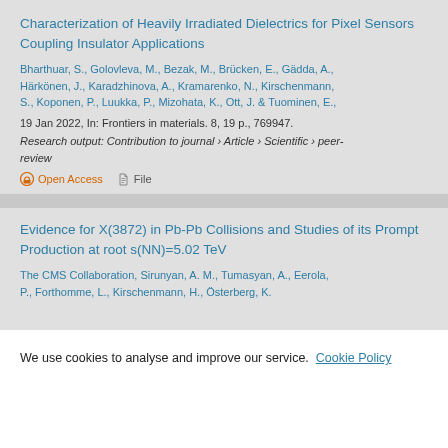Characterization of Heavily Irradiated Dielectrics for Pixel Sensors Coupling Insulator Applications
Bharthuar, S., Golovleva, M., Bezak, M., Brücken, E., Gädda, A., Härkönen, J., Karadzhinova, A., Kramarenko, N., Kirschenmann, S., Koponen, P., Luukka, P., Mizohata, K., Ott, J. & Tuominen, E., 19 Jan 2022, In: Frontiers in materials. 8, 19 p., 769947.
Research output: Contribution to journal › Article › Scientific › peer-review
Open Access   File
Evidence for X(3872) in Pb-Pb Collisions and Studies of its Prompt Production at root s(NN)=5.02 TeV
The CMS Collaboration, Sirunyan, A. M., Tumasyan, A., Eerola, P., Forthomme, L., Kirschenmann, H., Österberg, K.
We use cookies to analyse and improve our service. Cookie Policy